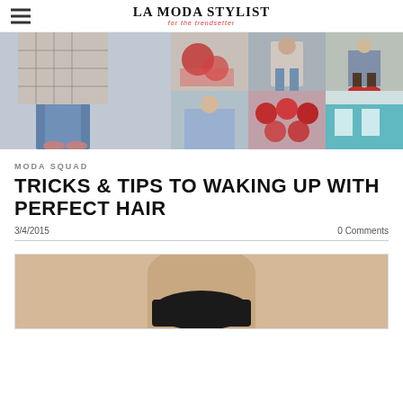La Moda Stylist — for the trendsetter
[Figure (photo): Fashion photo collage grid: left large panel shows woman in jeans and plaid coat; right panels show red flowers/accessories, man in casual outfit, woman in boots/jeans, woman in off-shoulder blue top, red roses close-up, teal building exterior]
MODA SQUAD
TRICKS & TIPS TO WAKING UP WITH PERFECT HAIR
3/4/2015    0 Comments
[Figure (photo): Woman in black swimwear/bikini bottom, torso visible, light background]